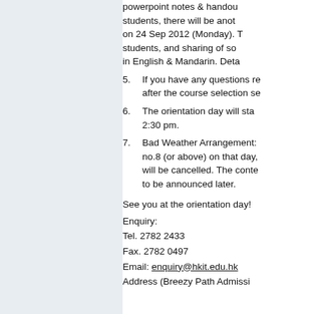powerpoint notes & handou… students, there will be anot… on 24 Sep 2012 (Monday). T… students, and sharing of so… in English & Mandarin. Deta…
5. If you have any questions re… after the course selection se…
6. The orientation day will sta… 2:30 pm.
7. Bad Weather Arrangement:… no.8 (or above) on that day,… will be cancelled. The conte… to be announced later.
See you at the orientation day!
Enquiry:
Tel. 2782 2433
Fax. 2782 0497
Email: enquiry@hkit.edu.hk
Address (Breezy Path Admissi…